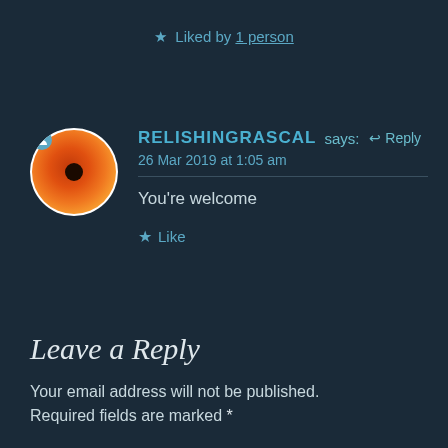★ Liked by 1 person
[Figure (photo): Circular avatar showing an orange flower (gerbera daisy) with a dark center, with a small user/person icon badge in the top-left corner of the circle]
RELISHINGRASCAL says: ↩ Reply
26 Mar 2019 at 1:05 am
You're welcome
★ Like
Leave a Reply
Your email address will not be published. Required fields are marked *